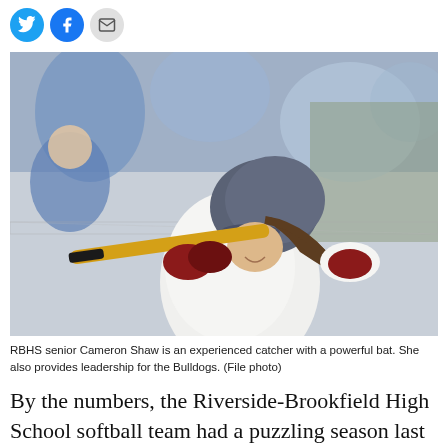[Figure (photo): Social media share icons: Twitter (blue circle), Facebook (blue circle), Email (gray circle)]
[Figure (photo): RBHS senior Cameron Shaw, a softball player in white uniform with gray batting helmet, in batting stance holding a yellow and black bat at shoulder height. Spectators in blue are visible in the background behind a chain-link fence.]
RBHS senior Cameron Shaw is an experienced catcher with a powerful bat. She also provides leadership for the Bulldogs. (File photo)
By the numbers, the Riverside-Brookfield High School softball team had a puzzling season last year.